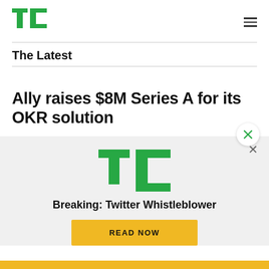TechCrunch logo and navigation
The Latest
Ally raises $8M Series A for its OKR solution
[Figure (logo): TechCrunch TC logo in green]
Breaking: Twitter Whistleblower
READ NOW